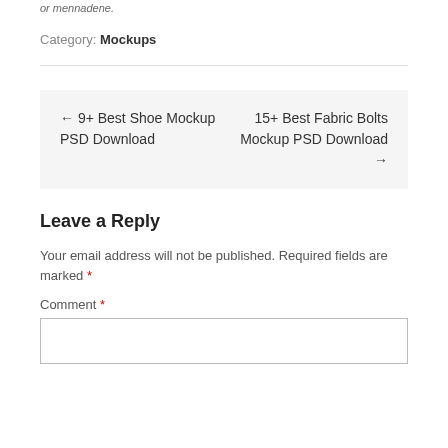or mennadene.
Category: Mockups
← 9+ Best Shoe Mockup PSD Download    15+ Best Fabric Bolts Mockup PSD Download →
Leave a Reply
Your email address will not be published. Required fields are marked *
Comment *